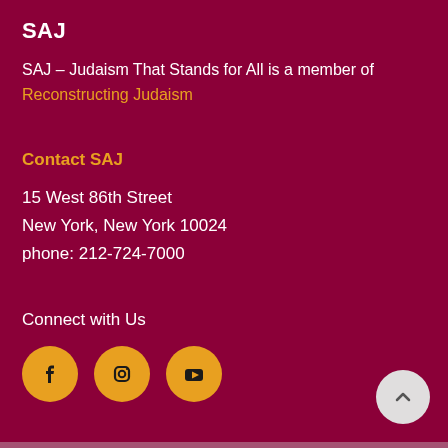SAJ
SAJ – Judaism That Stands for All is a member of Reconstructing Judaism
Contact SAJ
15 West 86th Street
New York, New York 10024
phone: 212-724-7000
Connect with Us
[Figure (infographic): Three social media icons: Facebook, Instagram, and YouTube, each in an orange circle. A back-to-top button (circle with upward chevron) is at bottom right.]